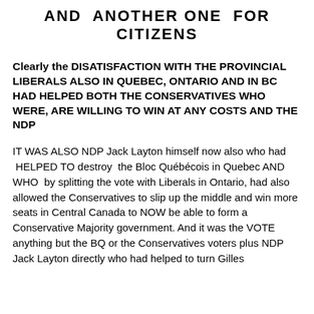AND ANOTHER ONE FOR CITIZENS
Clearly the DISATISFACTION WITH THE PROVINCIAL LIBERALS ALSO IN QUEBEC, ONTARIO AND IN BC HAD HELPED BOTH THE CONSERVATIVES WHO WERE, ARE WILLING TO WIN AT ANY COSTS AND THE NDP
IT WAS ALSO NDP Jack Layton himself now also who had HELPED TO destroy the Bloc Québécois in Quebec AND WHO by splitting the vote with Liberals in Ontario, had also allowed the Conservatives to slip up the middle and win more seats in Central Canada to NOW be able to form a Conservative Majority government. And it was the VOTE anything but the BQ or the Conservatives voters plus NDP Jack Layton directly who had helped to turn Gilles